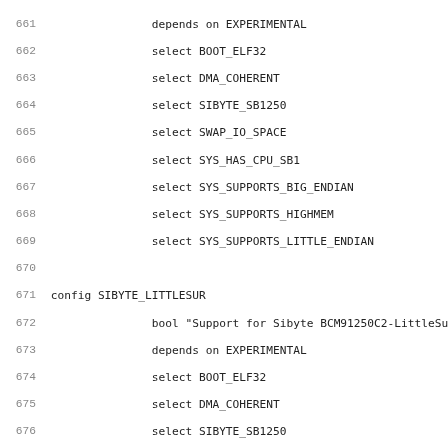Source code listing lines 661-692 showing Linux kernel Kconfig entries for SIBYTE board configurations including SIBYTE_LITTLESUR and SIBYTE_CRHINE
661			depends on EXPERIMENTAL
662			select BOOT_ELF32
663			select DMA_COHERENT
664			select SIBYTE_SB1250
665			select SWAP_IO_SPACE
666			select SYS_HAS_CPU_SB1
667			select SYS_SUPPORTS_BIG_ENDIAN
668			select SYS_SUPPORTS_HIGHMEM
669			select SYS_SUPPORTS_LITTLE_ENDIAN
670
671 config SIBYTE_LITTLESUR
672			bool "Support for Sibyte BCM91250C2-LittleSur"
673			depends on EXPERIMENTAL
674			select BOOT_ELF32
675			select DMA_COHERENT
676			select SIBYTE_SB1250
677			select SWAP_IO_SPACE
678			select SYS_HAS_CPU_SB1
679			select SYS_SUPPORTS_BIG_ENDIAN
680			select SYS_SUPPORTS_HIGHMEM
681			select SYS_SUPPORTS_LITTLE_ENDIAN
682
683 config SIBYTE_CRHINE
684			bool "Support for Sibyte BCM91120C-CRhine"
685			depends on EXPERIMENTAL
686			select BOOT_ELF32
687			select DMA_COHERENT
688			select SIBYTE_BCM1120
689			select SWAP_IO_SPACE
690			select SYS_HAS_CPU_SB1
691			select SYS_SUPPORTS_BIG_ENDIAN
692			select SYS_SUPPORTS_LITTLE_ENDIAN